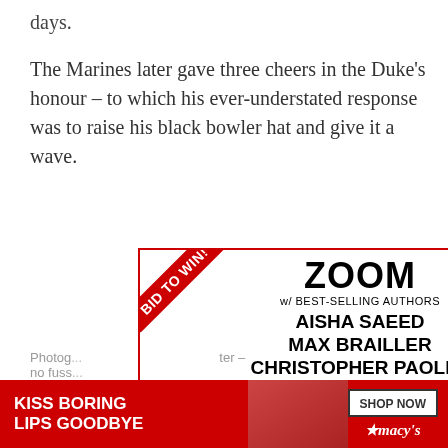days.
The Marines later gave three cheers in the Duke's honour – to which his ever-understated response was to raise his black bowler hat and give it a wave.
[Figure (screenshot): Advertisement for a 'Zoom w/ Best-Selling Authors' event featuring Aisha Saeed, Max Brailler, Christopher Paolini & More!!! with a red corner ribbon saying 'BID TO WIN!' and a close button. Below is a Macy's banner ad saying 'KISS BORING LIPS GOODBYE' with a SHOP NOW button.]
Photog... ter – no fuss...